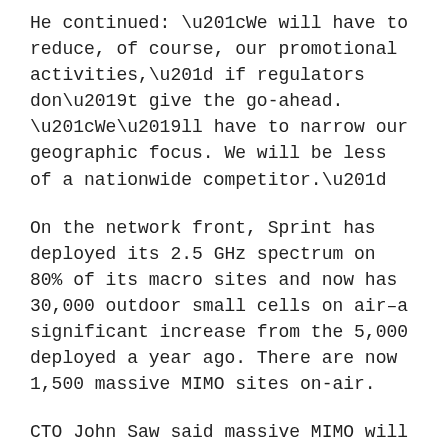He continued: “We will have to reduce, of course, our promotional activities,” if regulators don’t give the go-ahead. “We’ll have to narrow our geographic focus. We will be less of a nationwide competitor.”
On the network front, Sprint has deployed its 2.5 GHz spectrum on 80% of its macro sites and now has 30,000 outdoor small cells on air–a significant increase from the 5,000 deployed a year ago. There are now 1,500 massive MIMO sites on-air.
CTO John Saw said massive MIMO will support the launch of mobile 5G services in nine markets this year. “I think the path forward is to continue